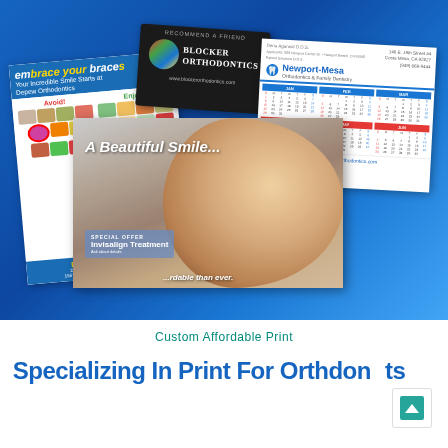[Figure (photo): Collage of orthodontic print materials: a 'Embrace Your Braces' flyer for Depew Orthodontics, a dark business card for Blocker Orthodontics with a parrot logo, a Newport-Mesa Orthodontics & Family Dentistry calendar card, and a 'A Beautiful Smile' postcard with a smiling woman wearing braces.]
Custom Affordable Print
Specializing In Print For Orthdonists